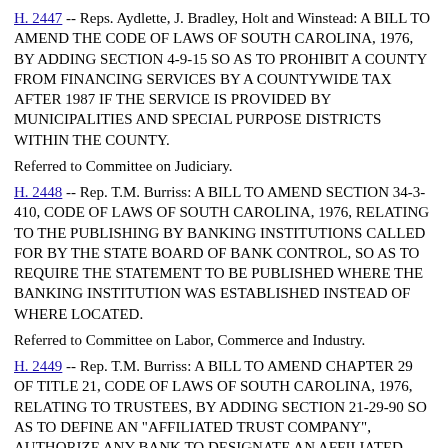H. 2447 -- Reps. Aydlette, J. Bradley, Holt and Winstead: A BILL TO AMEND THE CODE OF LAWS OF SOUTH CAROLINA, 1976, BY ADDING SECTION 4-9-15 SO AS TO PROHIBIT A COUNTY FROM FINANCING SERVICES BY A COUNTYWIDE TAX AFTER 1987 IF THE SERVICE IS PROVIDED BY MUNICIPALITIES AND SPECIAL PURPOSE DISTRICTS WITHIN THE COUNTY.
Referred to Committee on Judiciary.
H. 2448 -- Rep. T.M. Burriss: A BILL TO AMEND SECTION 34-3-410, CODE OF LAWS OF SOUTH CAROLINA, 1976, RELATING TO THE PUBLISHING BY BANKING INSTITUTIONS CALLED FOR BY THE STATE BOARD OF BANK CONTROL, SO AS TO REQUIRE THE STATEMENT TO BE PUBLISHED WHERE THE BANKING INSTITUTION WAS ESTABLISHED INSTEAD OF WHERE LOCATED.
Referred to Committee on Labor, Commerce and Industry.
H. 2449 -- Rep. T.M. Burriss: A BILL TO AMEND CHAPTER 29 OF TITLE 21, CODE OF LAWS OF SOUTH CAROLINA, 1976, RELATING TO TRUSTEES, BY ADDING SECTION 21-29-90 SO AS TO DEFINE AN "AFFILIATED TRUST COMPANY", AUTHORIZE ANY BANK TO DESIGNATE AN AFFILIATED TRUST COMPANY AS ITS AGENT FOR THE